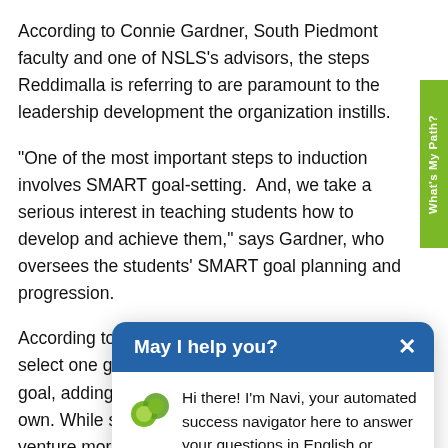According to Connie Gardner, South Piedmont faculty and one of NSLS's advisors, the steps Reddimalla is referring to are paramount to the leadership development the organization instills.
“One of the most important steps to induction involves SMART goal-setting. And, we take a serious interest in teaching students how to develop and achieve them,” says Gardner, who oversees the students’ SMART goal planning and progression.
According to those members, they are required to select one goal and develop a plan to achieve that goal, adding that the plan and the goal are their own. While some are straightforward, others venture more outside the box. Reddimalla chose to learn and master the theme song from Jurassic Park on the piano as her
[Figure (screenshot): Chat widget popup overlay with header 'May I help you?' and close X button on blue background, with Navi avatar (green circles logo) and message: 'Hi there! I’m Navi, your automated success navigator here to answer your questions in English or Spanish. What would you like to know?' A green circular chat button is in the bottom-right corner.]